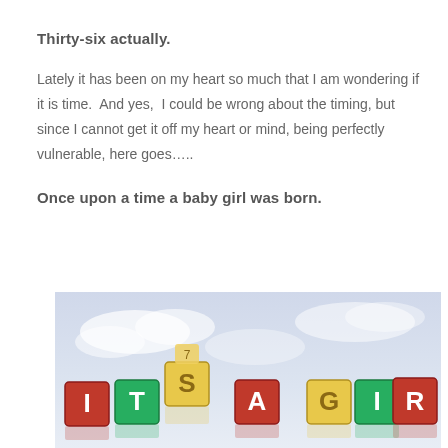Thirty-six actually.
Lately it has been on my heart so much that I am wondering if it is time.  And yes,  I could be wrong about the timing, but since I cannot get it off my heart or mind, being perfectly vulnerable, here goes…..
Once upon a time a baby girl was born.
[Figure (photo): Colorful children's alphabet blocks spelling out 'ITS A GIRL' against a light blue sky background]